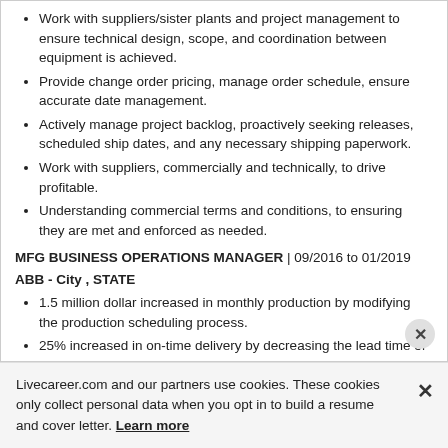Work with suppliers/sister plants and project management to ensure technical design, scope, and coordination between equipment is achieved.
Provide change order pricing, manage order schedule, ensure accurate date management.
Actively manage project backlog, proactively seeking releases, scheduled ship dates, and any necessary shipping paperwork.
Work with suppliers, commercially and technically, to drive profitable.
Understanding commercial terms and conditions, to ensuring they are met and enforced as needed.
MFG BUSINESS OPERATIONS MANAGER | 09/2016 to 01/2019
ABB - City , STATE
1.5 million dollar increased in monthly production by modifying the production scheduling process.
25% increased in on-time delivery by decreasing the lead time of project material.
Livecareer.com and our partners use cookies. These cookies only collect personal data when you opt in to build a resume and cover letter. Learn more